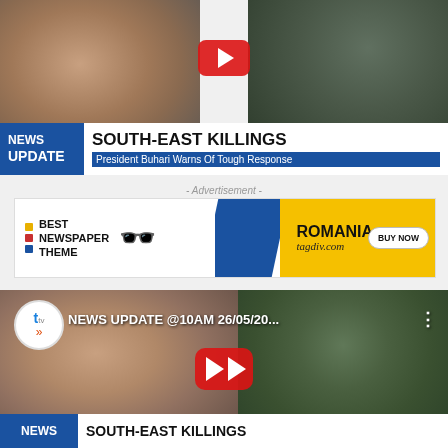[Figure (screenshot): YouTube video thumbnail showing a news update about South-East Killings with President Buhari and armed figures. Blue 'NEWS UPDATE' banner with headline 'SOUTH-EAST KILLINGS' and subline 'President Buhari Warns Of Tough Response'.]
- Advertisement -
[Figure (screenshot): Advertisement banner for Best Newspaper Theme Romania tagdiv.com with sunglasses image, blue and yellow diagonal design, and BUY NOW button.]
[Figure (screenshot): YouTube video thumbnail titled 'NEWS UPDATE @10AM 26/05/20...' showing President Buhari on left and masked figures on right, with YouTube play button and 'NEWS / SOUTH-EAST KILLINGS' banner at bottom.]